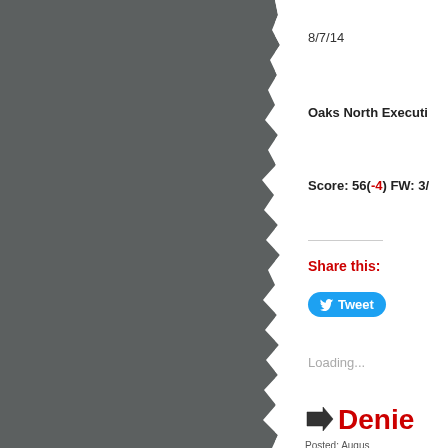[Figure (photo): Dark gray torn paper or book spine on the left side of the page with a jagged torn edge on the right side]
8/7/14
Oaks North Executi
Score: 56(-4) FW: 3/
Share this:
Tweet
Loading...
Denie
Posted: Augus
Tags: blog, d local, motiva sports, viney